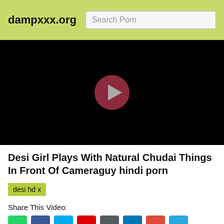dampxxx.org
[Figure (screenshot): Black video player with a dark red circular play button in the center]
Desi Girl Plays With Natural Chudai Things In Front Of Cameraguy hindi porn
desi hd x
Share This Video: